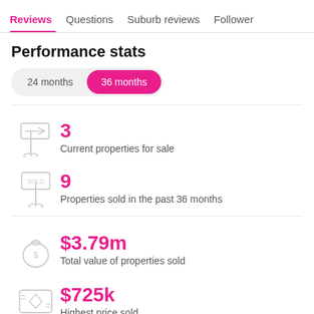Reviews  Questions  Suburb reviews  Follower
Performance stats
24 months  36 months
3
Current properties for sale
9
Properties sold in the past 36 months
$3.79m
Total value of properties sold
$725k
Highest price sold